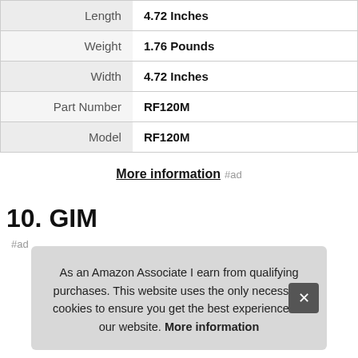| Length | 4.72 Inches |
| Weight | 1.76 Pounds |
| Width | 4.72 Inches |
| Part Number | RF120M |
| Model | RF120M |
More information #ad
10. GIM
#ad
As an Amazon Associate I earn from qualifying purchases. This website uses the only necessary cookies to ensure you get the best experience on our website. More information